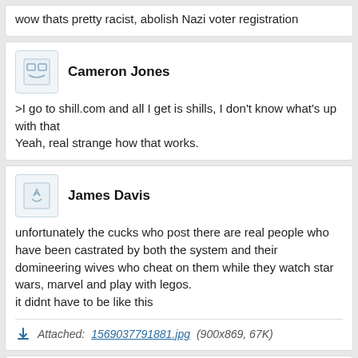wow thats pretty racist, abolish Nazi voter registration
Cameron Jones
>I go to shill.com and all I get is shills, I don't know what's up with that
Yeah, real strange how that works.
James Davis
unfortunately the cucks who post there are real people who have been castrated by both the system and their domineering wives who cheat on them while they watch star wars, marvel and play with legos.
it didnt have to be like this
Attached: 1569037791881.jpg (900x869, 67K)
Jack Parker